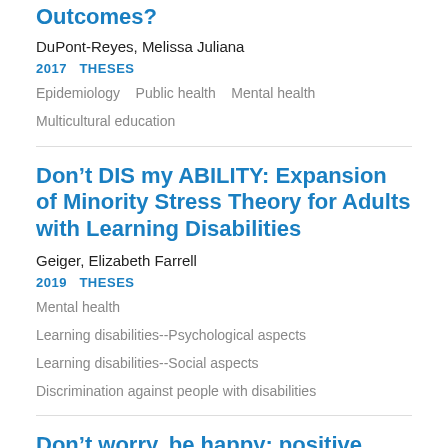Outcomes?
DuPont-Reyes, Melissa Juliana
2017  THESES
Epidemiology
Public health
Mental health
Multicultural education
Don’t DIS my ABILITY: Expansion of Minority Stress Theory for Adults with Learning Disabilities
Geiger, Elizabeth Farrell
2019  THESES
Mental health
Learning disabilities--Psychological aspects
Learning disabilities--Social aspects
Discrimination against people with disabilities
Don’t worry, be happy: positive